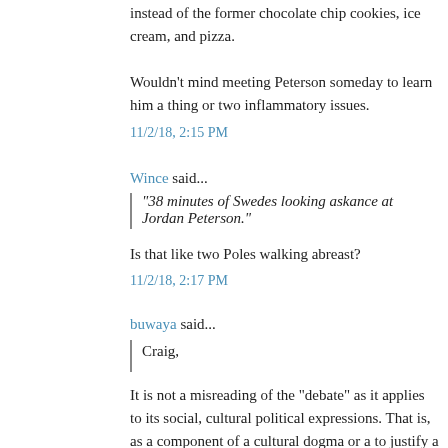instead of the former chocolate chip cookies, ice cream, and pizza.
Wouldn't mind meeting Peterson someday to learn him a thing or two inflammatory issues.
11/2/18, 2:15 PM
Wince said...
"38 minutes of Swedes looking askance at Jordan Peterson."
Is that like two Poles walking abreast?
11/2/18, 2:17 PM
buwaya said...
Craig,
It is not a misreading of the "debate" as it applies to its social, cultural political expressions. That is, as a component of a cultural dogma or a to justify a given exercise of power.